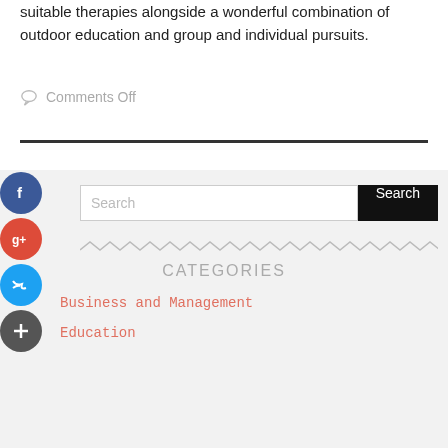suitable therapies alongside a wonderful combination of outdoor education and group and individual pursuits.
Comments Off
[Figure (other): Horizontal divider line]
[Figure (other): Social media icon buttons: Facebook (blue), Google+ (red), Twitter (blue), Plus (dark gray)]
Search
CATEGORIES
Business and Management
Education